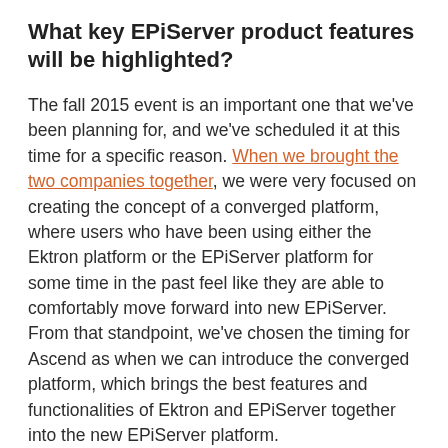What key EPiServer product features will be highlighted?
The fall 2015 event is an important one that we've been planning for, and we've scheduled it at this time for a specific reason. When we brought the two companies together, we were very focused on creating the concept of a converged platform, where users who have been using either the Ektron platform or the EPiServer platform for some time in the past feel like they are able to comfortably move forward into new EPiServer. From that standpoint, we've chosen the timing for Ascend as when we can introduce the converged platform, which brings the best features and functionalities of Ektron and EPiServer together into the new EPiServer platform.